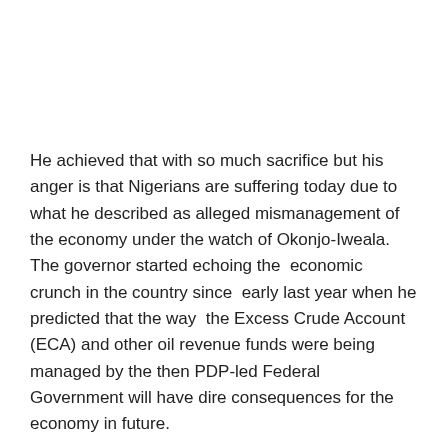He achieved that with so much sacrifice but his anger is that Nigerians are suffering today due to what he described as alleged mismanagement of the economy under the watch of Okonjo-Iweala.  The governor started echoing the  economic crunch in the country since  early last year when he predicted that the way  the Excess Crude Account (ECA) and other oil revenue funds were being managed by the then PDP-led Federal Government will have dire consequences for the economy in future.
It is not surprising, therefore, that he, of late,  engaged in war of words with the former minister, who he accused of